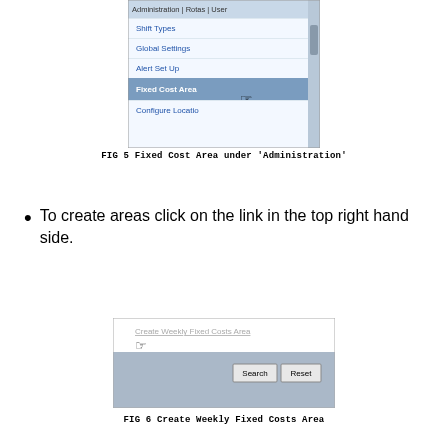[Figure (screenshot): Dropdown menu under Administration showing: Shift Types, Global Settings, Alert Set Up, Fixed Cost Area (highlighted/selected), Configure Location. A scrollbar is visible on the right.]
FIG 5 Fixed Cost Area under 'Administration'
To create areas click on the link in the top right hand side.
[Figure (screenshot): Screenshot showing 'Create Weekly Fixed Costs Area' link at top right with a hand cursor, and below it a search bar area with Search and Reset buttons on a grey background.]
FIG 6 Create Weekly Fixed Costs Area